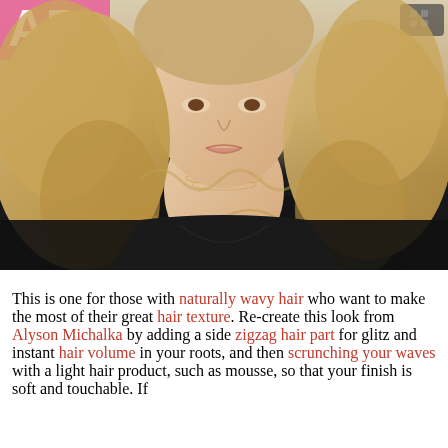[Figure (photo): A blonde woman with long wavy hair wearing a black dress and layered necklace, photographed at an event with a pink background.]
This is one for those with naturally wavy hair who want to make the most of their great hair texture. Re-create this look from Alyson Michalka by adding a side zigzag hair part for glitz and instant hair volume in your roots, and then scrunching your waves with a light hair product, such as mousse, so that your finish is soft and touchable. If